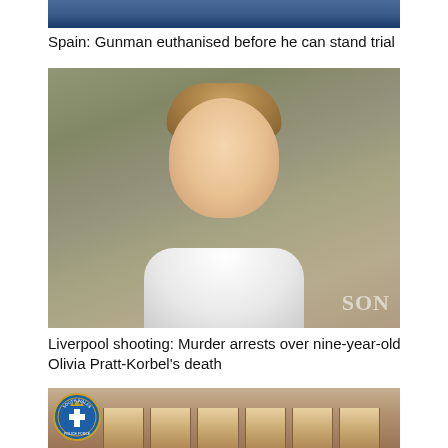[Figure (photo): Partial image of a person at the top, cropped]
Spain: Gunman euthanised before he can stand trial
[Figure (photo): Young girl with blonde/brown hair in pigtails smiling, wearing a white t-shirt]
Liverpool shooting: Murder arrests over nine-year-old Olivia Pratt-Korbel’s death
[Figure (photo): NSW Police badge on left with wooden furniture/table in background]